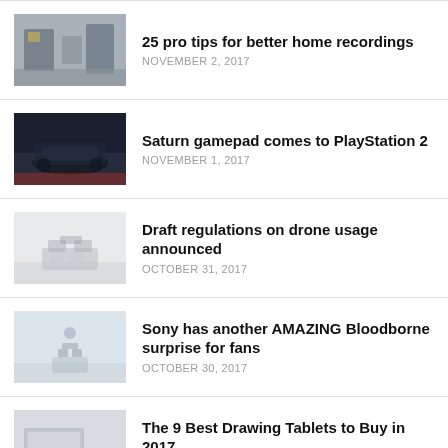[Figure (photo): Blurred indoor room scene thumbnail]
25 pro tips for better home recordings
NOVEMBER 2, 2017
[Figure (photo): Blurred dark car scene thumbnail]
Saturn gamepad comes to PlayStation 2
NOVEMBER 1, 2017
[Figure (photo): Blurred drone on white background thumbnail]
Draft regulations on drone usage announced
OCTOBER 31, 2017
[Figure (photo): Blurred drone in sky thumbnail]
Sony has another AMAZING Bloodborne surprise for fans
OCTOBER 30, 2017
[Figure (photo): Blurred drawing tablet on desk thumbnail]
The 9 Best Drawing Tablets to Buy in 2017
OCTOBER 29, 2017